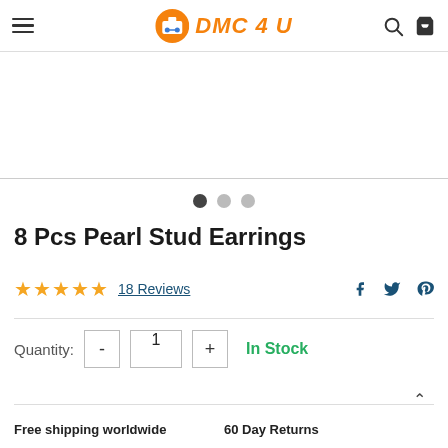DMC 4 U
[Figure (photo): Product image area placeholder (white space for carousel)]
8 Pcs Pearl Stud Earrings
18 Reviews
Quantity: 1  In Stock
Free shipping worldwide  60 Day Returns